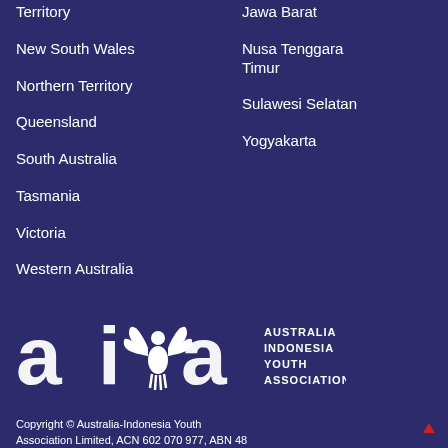Territory
New South Wales
Northern Territory
Queensland
South Australia
Tasmania
Victoria
Western Australia
Jawa Barat
Nusa Tenggara Timur
Sulawesi Selatan
Yogyakarta
[Figure (logo): AIYA - Australia Indonesia Youth Association logo in white on dark blue background]
Copyright © Australia-Indonesia Youth Association Limited, ACN 602 070 977, ABN 48